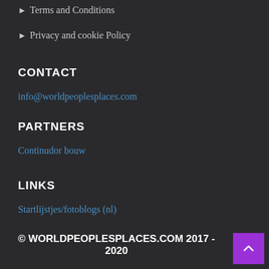Terms and Conditions
Privacy and cookie Policy
CONTACT
info@worldpeoplesplaces.com
PARTNERS
Continudor bouw
LINKS
Startlijstjes/fotoblogs (nl)
© WORLDPEOPLESPLACES.COM 2017 - 2020